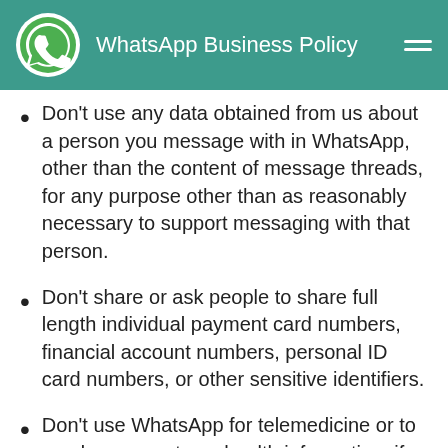WhatsApp Business Policy
Don't use any data obtained from us about a person you message with in WhatsApp, other than the content of message threads, for any purpose other than as reasonably necessary to support messaging with that person.
Don't share or ask people to share full length individual payment card numbers, financial account numbers, personal ID card numbers, or other sensitive identifiers.
Don't use WhatsApp for telemedicine or to send or request any health information, if applicable regulations would limit distribution of such information to systems that do not meet heightened requirements to